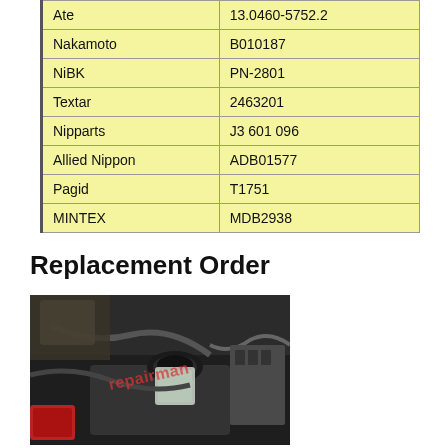| Ate | 13.0460-5752.2 |
| Nakamoto | B010187 |
| NiBK | PN-2801 |
| Textar | 2463201 |
| Nipparts | J3 601 096 |
| Allied Nippon | ADB01577 |
| Pagid | T1751 |
| MINTEX | MDB2938 |
Replacement Order
[Figure (photo): Engine bay photo showing brake fluid reservoir and engine components with a watermark overlay]